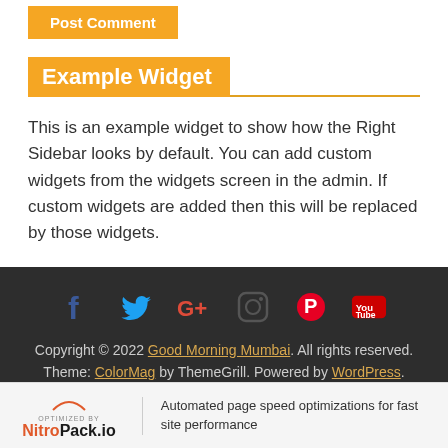[Figure (other): Post Comment button in orange/amber color at top of page]
Example Widget
This is an example widget to show how the Right Sidebar looks by default. You can add custom widgets from the widgets screen in the admin. If custom widgets are added then this will be replaced by those widgets.
[Figure (other): Social media icons row: Facebook (blue), Twitter (blue), Google+ (red), Instagram (dark), Pinterest (red), YouTube (red) on dark background]
Copyright © 2022 Good Morning Mumbai. All rights reserved. Theme: ColorMag by ThemeGrill. Powered by WordPress.
[Figure (logo): NitroPack.io Optimized By logo with arc graphic]
Automated page speed optimizations for fast site performance